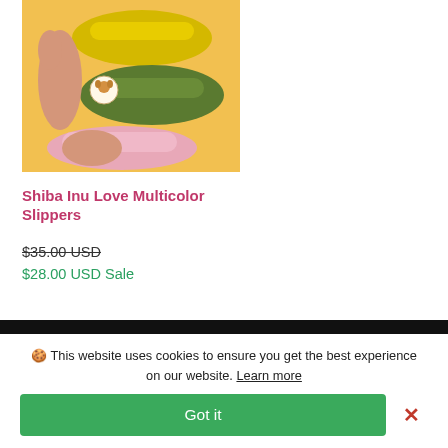[Figure (photo): Product photo of colorful Shiba Inu slippers in yellow, green, and pink on an orange-yellow background, held by a person's hands]
Shiba Inu Love Multicolor Slippers
$35.00 USD (strikethrough)
$28.00 USD Sale
🍪 This website uses cookies to ensure you get the best experience on our website. Learn more
Got it